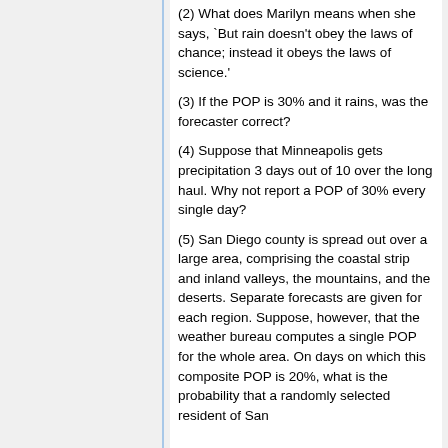(2) What does Marilyn means when she says, `But rain doesn't obey the laws of chance; instead it obeys the laws of science.'
(3) If the POP is 30% and it rains, was the forecaster correct?
(4) Suppose that Minneapolis gets precipitation 3 days out of 10 over the long haul. Why not report a POP of 30% every single day?
(5) San Diego county is spread out over a large area, comprising the coastal strip and inland valleys, the mountains, and the deserts. Separate forecasts are given for each region. Suppose, however, that the weather bureau computes a single POP for the whole area. On days on which this composite POP is 20%, what is the probability that a randomly selected resident of San